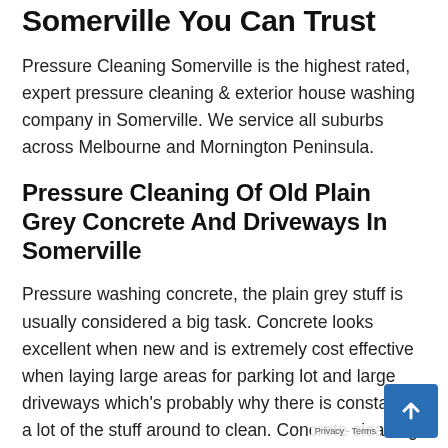Somerville You Can Trust
Pressure Cleaning Somerville is the highest rated, expert pressure cleaning & exterior house washing company in Somerville. We service all suburbs across Melbourne and Mornington Peninsula.
Pressure Cleaning Of Old Plain Grey Concrete And Driveways In Somerville
Pressure washing concrete, the plain grey stuff is usually considered a big task. Concrete looks excellent when new and is extremely cost effective when laying large areas for parking lot and large driveways which's probably why there is constantly a lot of the stuff around to clean. Concrete cleaning big areas can be intimidati… Since of its light colour concrete can become unattractive extremely quickly given the best